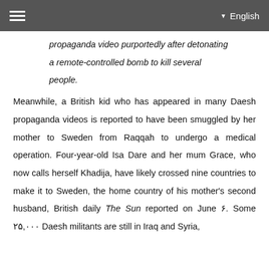English
propaganda video purportedly after detonating a remote-controlled bomb to kill several people.
Meanwhile, a British kid who has appeared in many Daesh propaganda videos is reported to have been smuggled by her mother to Sweden from Raqqah to undergo a medical operation. Four-year-old Isa Dare and her mum Grace, who now calls herself Khadija, have likely crossed nine countries to make it to Sweden, the home country of his mother's second husband, British daily The Sun reported on June ۶. Some ۲۵,۰۰۰ Daesh militants are still in Iraq and Syria,